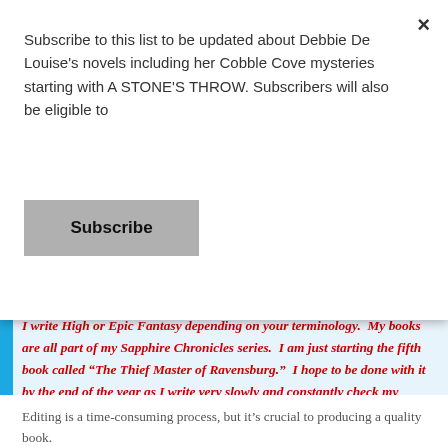Subscribe to this list to be updated about Debbie De Louise's novels including her Cobble Cove mysteries starting with A STONE'S THROW. Subscribers will also be eligible to
Subscribe
I write High or Epic Fantasy depending on your terminology.  My books are all part of my Sapphire Chronicles series.  I am just starting the fifth book called “The Thief Master of Ravensburg.”  I hope to be done with it by the end of the year as I write very slowly and constantly check my work for inconsistencies.
Editing is a time-consuming process, but it’s crucial to producing a quality book.